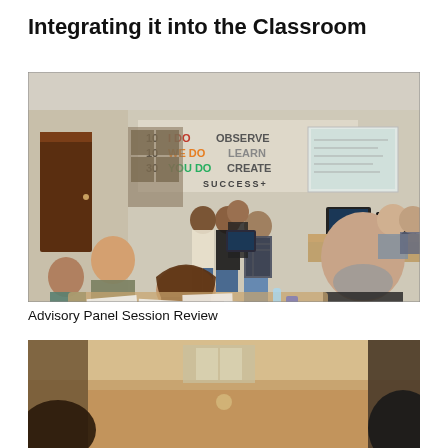Integrating it into the Classroom
[Figure (photo): Students presenting to an advisory panel seated around a table in a classroom. A wall sign reads '10 I DO OBSERVE / 10 WE DO LEARN / 30 YOU DO CREATE / SUCCESS+'. A projector screen is visible at the right.]
Advisory Panel Session Review
[Figure (photo): Partial view of a second classroom photo, cropped at the bottom of the page.]